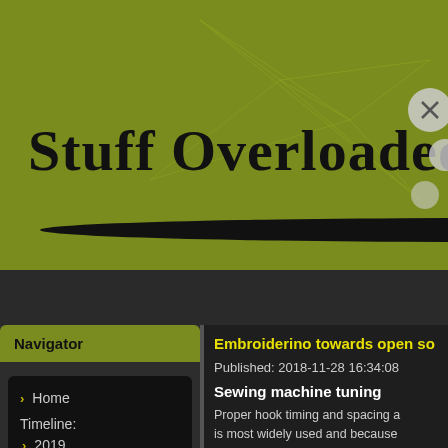[Figure (screenshot): Website header banner with dark green/olive background, geometric network line pattern, title 'Stuff Overloaded' in handwritten/brush style font, decorative circles top right, and black curved underline below title]
Home   Git   About
Navigator
Home
Timeline:
2019
2018
Embroiderino towards open so
Published: 2018-11-28 16:34:08
Sewing machine tuning
Proper hook timing and spacing a is most widely used and because miss the thread loop or cut it out thread to broke or stay on hook w Any imperfections can be aligned and hook tip, when it starts to measurement to work needle he crankshaft. Needle tip at its lowest Hook tip must be at proper spacin Furthermore there is other thin